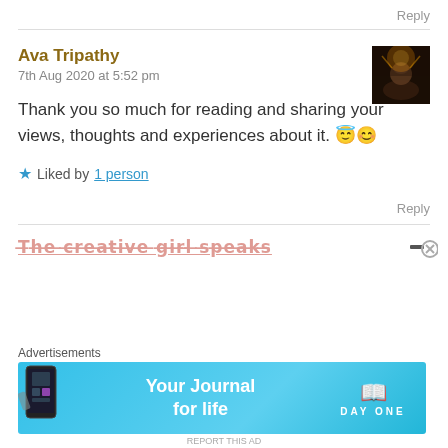Reply
Ava Tripathy
7th Aug 2020 at 5:52 pm
Thank you so much for reading and sharing your views, thoughts and experiences about it. 😇😊
★ Liked by 1 person
Reply
[Figure (photo): Small avatar photo showing silhouette against a bright light background]
The creative girl speaks
Advertisements
Your Journal for life – DAY ONE app advertisement banner